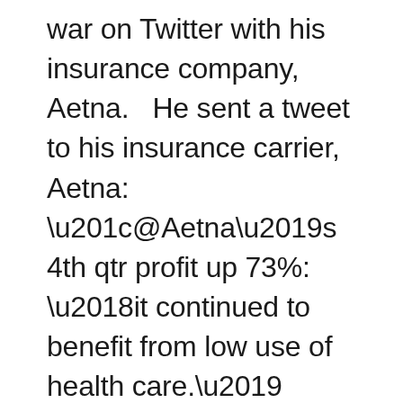war on Twitter with his insurance company, Aetna.   He sent a tweet to his insurance carrier, Aetna:  “@Aetna’s 4th qtr profit up 73%: ‘it continued to benefit from low use of health care.’ Helps they can ensure low use.”   He got back the usual responses from PR.   He discovered that the chief executive Mark Bertolini was on Twitter and engaged him in a heated q/a.  The insurance company moved quickly to work out a solution. Within 24 hours, Poop_Strong’s tweets had done more than six straight months online fundraising.  It